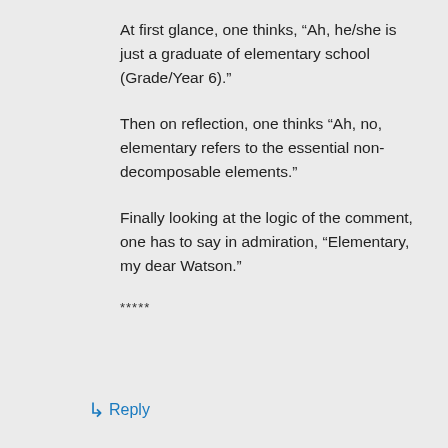At first glance, one thinks, “Ah, he/she is just a graduate of elementary school (Grade/Year 6).”
Then on reflection, one thinks “Ah, no, elementary refers to the essential non-decomposable elements.”
Finally looking at the logic of the comment, one has to say in admiration, “Elementary, my dear Watson.”
*****
↳ Reply